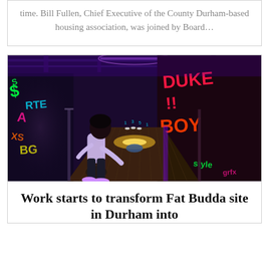time. Bill Fullen, Chief Executive of the County Durham-based housing association, was joined by Board…
[Figure (photo): Person bowling in a neon-lit, graffiti-decorated bowling alley with UV lighting and colorful murals on the walls.]
Work starts to transform Fat Budda site in Durham into